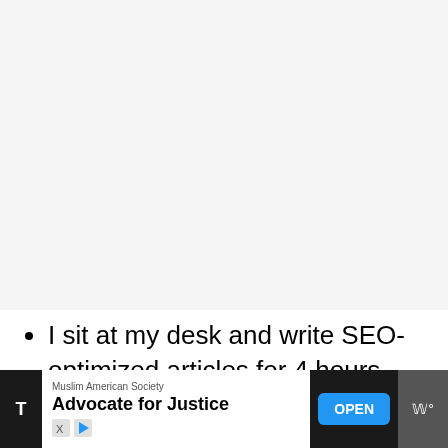[Figure (other): Large blank/light gray image placeholder area occupying the upper portion of the page]
I sit at my desk and write SEO-optimized articles for 4 hours every morning.
[Figure (other): Advertisement banner at the bottom: Muslim American Society – Advocate for Justice, with OPEN button, X/play icons on left, and Ww logo on right]